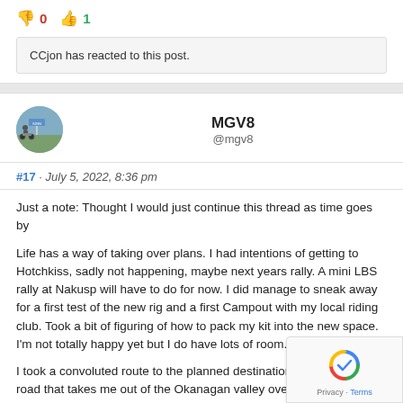👎 0   👍 1
CCjon has reacted to this post.
MGV8
@mgv8
#17 · July 5, 2022, 8:36 pm
Just a note: Thought I would just continue this thread as time goes by
Life has a way of taking over plans. I had intentions of getting to Hotchkiss, sadly not happening, maybe next years rally. A mini LBS rally at Nakusp will have to do for now. I did manage to sneak away for a first test of the new rig and a first Campout with my local riding club. Took a bit of figuring of how to pack my kit into the new space. I'm not totally happy yet but I do have lots of room.
I took a convoluted route to the planned destination. A little know road that takes me out of the Okanagan valley over to the North the Cascade mountains that the US/Canada border runs through.